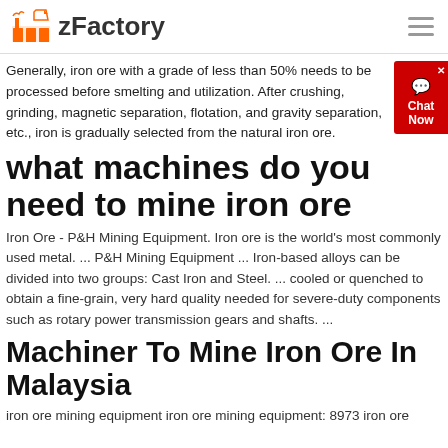zFactory
Generally, iron ore with a grade of less than 50% needs to be processed before smelting and utilization. After crushing, grinding, magnetic separation, flotation, and gravity separation, etc., iron is gradually selected from the natural iron ore.
what machines do you need to mine iron ore
Iron Ore - P&H Mining Equipment. Iron ore is the world's most commonly used metal. ... P&H Mining Equipment ... Iron-based alloys can be divided into two groups: Cast Iron and Steel. ... cooled or quenched to obtain a fine-grain, very hard quality needed for severe-duty components such as rotary power transmission gears and shafts. ...
Machiner To Mine Iron Ore In Malaysia
iron ore mining equipment iron ore mining equipment: 8973 iron ore